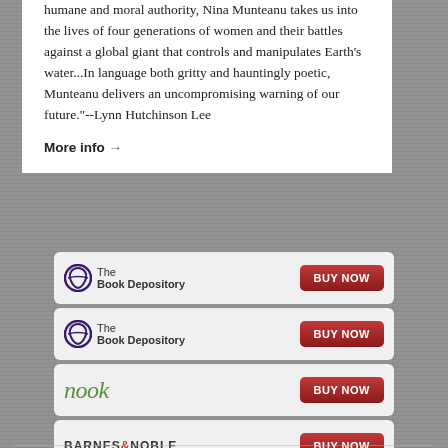humane and moral authority, Nina Munteanu takes us into the lives of four generations of women and their battles against a global giant that controls and manipulates Earth's water...In language both gritty and hauntingly poetic, Munteanu delivers an uncompromising warning of our future."--Lynn Hutchinson Lee
More info →
[Figure (screenshot): Book Depository BUY NOW button]
[Figure (screenshot): Book Depository BUY NOW button]
[Figure (screenshot): Nook BUY NOW button]
[Figure (screenshot): Barnes & Noble BUY NOW button]
[Figure (screenshot): Amazon Kindle BUY NOW button]
[Figure (screenshot): Amazon BUY NOW button]